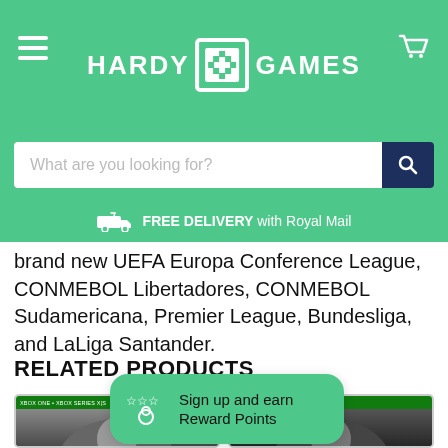HARDY GAMES
What are you looking for?
FREE DELIVERY with Royal Mail
brand new UEFA Europa Conference League, CONMEBOL Libertadores, CONMEBOL Sudamericana, Premier League, Bundesliga, and LaLiga Santander.
RELATED PRODUCTS
[Figure (screenshot): Two Xbox game product cards shown side by side at the bottom of the page]
Sign up and earn Reward Points